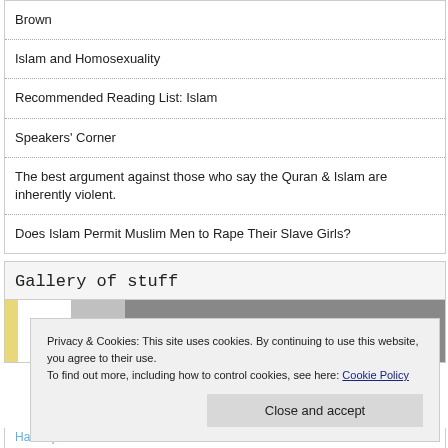Brown
Islam and Homosexuality
Recommended Reading List: Islam
Speakers' Corner
The best argument against those who say the Quran & Islam are inherently violent.
Does Islam Permit Muslim Men to Rape Their Slave Girls?
Gallery of stuff
[Figure (photo): Gallery image strip showing partial images]
Privacy & Cookies: This site uses cookies. By continuing to use this website, you agree to their use.
To find out more, including how to control cookies, see here: Cookie Policy
Close and accept